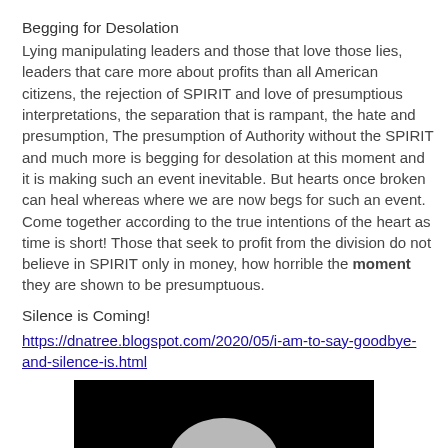Begging for Desolation
Lying manipulating leaders and those that love those lies, leaders that care more about profits than all American citizens, the rejection of SPIRIT and love of presumptious interpretations, the separation that is rampant, the hate and presumption, The presumption of Authority without the SPIRIT and much more is begging for desolation at this moment and it is making such an event inevitable. But hearts once broken can heal whereas where we are now begs for such an event. Come together according to the true intentions of the heart as time is short! Those that seek to profit from the division do not believe in SPIRIT only in money, how horrible the moment they are shown to be presumptuous.
Silence is Coming!
https://dnatree.blogspot.com/2020/05/i-am-to-say-goodbye-and-silence-is.html
[Figure (photo): Black background with a partially visible moon or white spherical object at the bottom center]